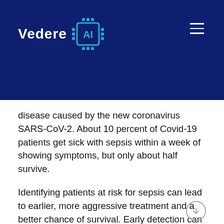[Figure (logo): Vedere AI logo with chip icon on dark navy blue header background, with hamburger menu icon on right]
disease caused by the new coronavirus SARS-CoV-2. About 10 percent of Covid-19 patients get sick with sepsis within a week of showing symptoms, but only about half survive.
Identifying patients at risk for sepsis can lead to earlier, more aggressive treatment and a better chance of survival. Early detection can also help hospitals prioritize intensive-care resources for their sickest patients. In a project led by MIT Professor Daniela Rus, researchers will develop a machine learning system to analyze images of patients' white blood cells for signs of an activated immune response.